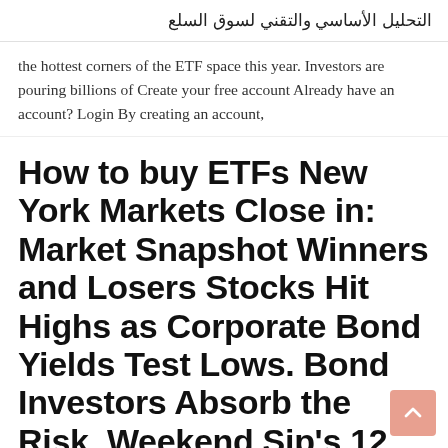التحليل الأساسي والتقني لسوق السلع
the hottest corners of the ETF space this year. Investors are pouring billions of Create your free account Already have an account? Login By creating an account,
How to buy ETFs New York Markets Close in: Market Snapshot Winners and Losers Stocks Hit Highs as Corporate Bond Yields Test Lows. Bond Investors Absorb the Risk. Weekend Sip's 12 bottles of Christmas: gift